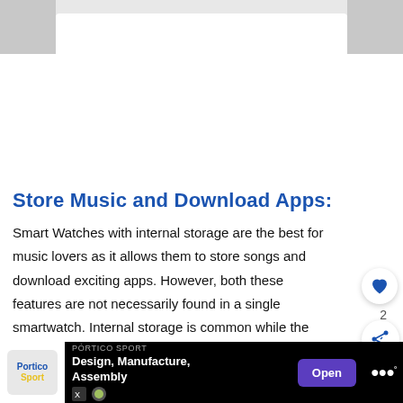[Figure (screenshot): Top gray header area with white card/content placeholder in the center]
Store Music and Download Apps:
Smart Watches with internal storage are the best for music lovers as it allows them to store songs and download exciting apps. However, both these features are not necessarily found in a single smartwatch. Internal storage is common while the capability to download apps is rare.
Contactless payment:
[Figure (screenshot): Advertisement banner: Portico Sport - Design, Manufacture, Assembly with Open button and app logo]